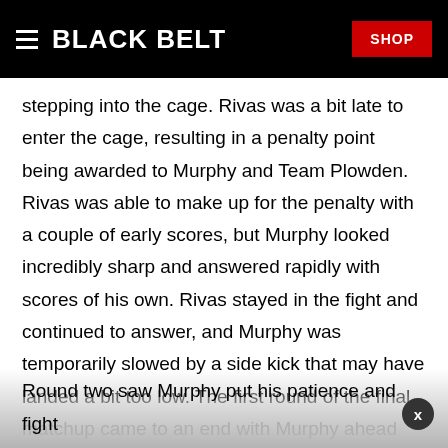BLACK BELT | SHOP
stepping into the cage. Rivas was a bit late to enter the cage, resulting in a penalty point being awarded to Murphy and Team Plowden. Rivas was able to make up for the penalty with a couple of early scores, but Murphy looked incredibly sharp and answered rapidly with scores of his own. Rivas stayed in the fight and continued to answer, and Murphy was temporarily slowed by a side kick that may have landed a bit too low. The first round of the final matchup came to an end with Murphy ahead 11-5.
Round two saw Murphy put his patience and fight